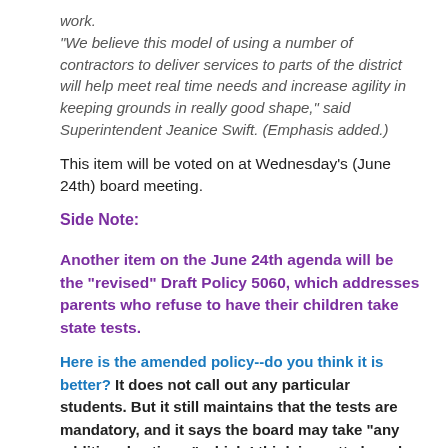work. "We believe this model of using a number of contractors to deliver services to parts of the district will help meet real time needs and increase agility in keeping grounds in really good shape," said Superintendent Jeanice Swift. (Emphasis added.)
This item will be voted on at Wednesday's (June 24th) board meeting.
Side Note:
Another item on the June 24th agenda will be the "revised" Draft Policy 5060, which addresses parents who refuse to have their children take state tests.
Here is the amended policy--do you think it is better? It does not call out any particular students. But it still maintains that the tests are mandatory, and it says the board may take "any additional actions," which I think is pretty broad.